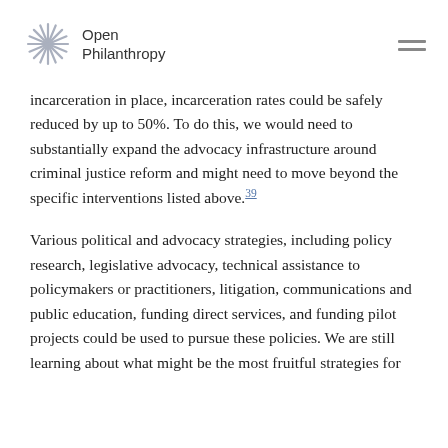Open Philanthropy
incarceration in place, incarceration rates could be safely reduced by up to 50%. To do this, we would need to substantially expand the advocacy infrastructure around criminal justice reform and might need to move beyond the specific interventions listed above.39
Various political and advocacy strategies, including policy research, legislative advocacy, technical assistance to policymakers or practitioners, litigation, communications and public education, funding direct services, and funding pilot projects could be used to pursue these policies. We are still learning about what might be the most fruitful strategies for